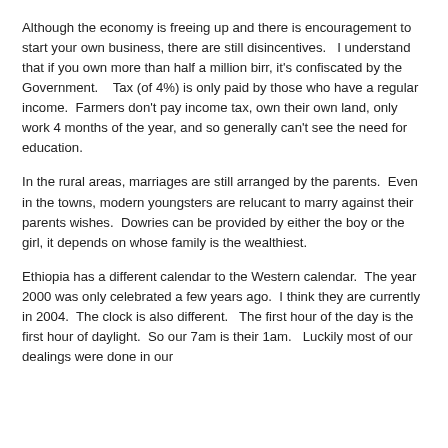Although the economy is freeing up and there is encouragement to start your own business, there are still disincentives.   I understand that if you own more than half a million birr, it's confiscated by the Government.    Tax (of 4%) is only paid by those who have a regular income.  Farmers don't pay income tax, own their own land, only work 4 months of the year, and so generally can't see the need for education.
In the rural areas, marriages are still arranged by the parents.  Even in the towns, modern youngsters are relucant to marry against their parents wishes.  Dowries can be provided by either the boy or the girl, it depends on whose family is the wealthiest.
Ethiopia has a different calendar to the Western calendar.  The year 2000 was only celebrated a few years ago.  I think they are currently in 2004.  The clock is also different.   The first hour of the day is the first hour of daylight.  So our 7am is their 1am.   Luckily most of our dealings were done in our